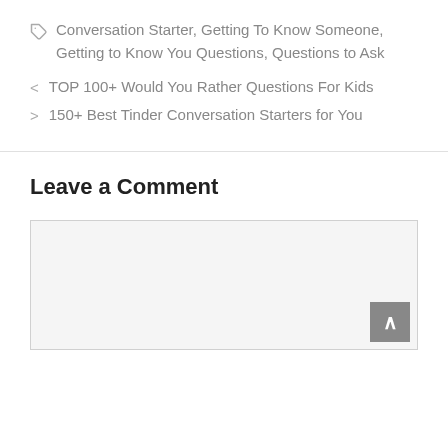Conversation Starter, Getting To Know Someone, Getting to Know You Questions, Questions to Ask
< TOP 100+ Would You Rather Questions For Kids
> 150+ Best Tinder Conversation Starters for You
Leave a Comment